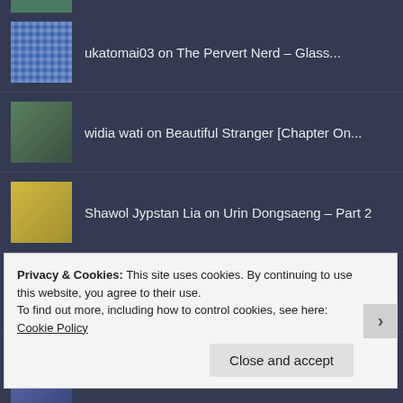ukatomai03 on The Pervert Nerd – Glass...
widia wati on Beautiful Stranger [Chapter On...
Shawol Jypstan Lia on Urin Dongsaeng – Part 2
vikeykyulov on Lima Jari
Dewi Afifa Murtosya on WW Club – Part 1: Sun Life and...
[Figure (illustration): Partial red badge/label with text 'THE HERO' visible at bottom of dark background]
Privacy & Cookies: This site uses cookies. By continuing to use this website, you agree to their use.
To find out more, including how to control cookies, see here: Cookie Policy
Close and accept